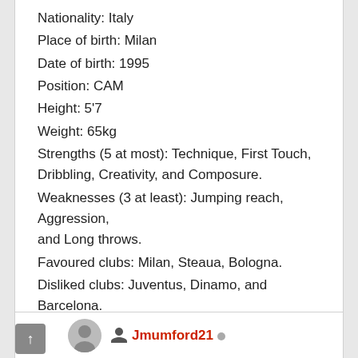Nationality: Italy
Place of birth: Milan
Date of birth: 1995
Position: CAM
Height: 5'7
Weight: 65kg
Strengths (5 at most): Technique, First Touch, Dribbling, Creativity, and Composure.
Weaknesses (3 at least): Jumping reach, Aggression, and Long throws.
Favoured clubs: Milan, Steaua, Bologna.
Disliked clubs: Juventus, Dinamo, and Barcelona.
Login to Quote
Jmumford21